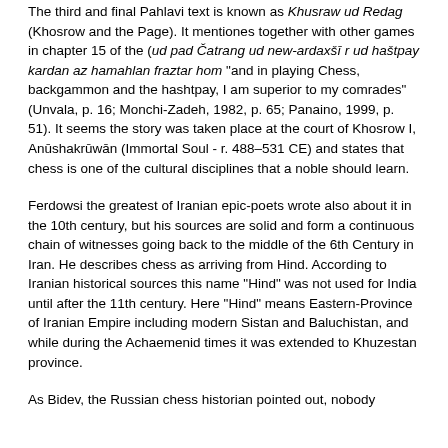The third and final Pahlavi text is known as Khusraw ud Redag (Khosrow and the Page). It mentiones together with other games in chapter 15 of the (ud pad Čatrang ud new-ardaxšī r ud haštpay kardan az hamahlan fraztar hom "and in playing Chess, backgammon and the hashtpay, I am superior to my comrades" (Unvala, p. 16; Monchi-Zadeh, 1982, p. 65; Panaino, 1999, p. 51). It seems the story was taken place at the court of Khosrow I, Anūshakrūwān (Immortal Soul - r. 488–531 CE) and states that chess is one of the cultural disciplines that a noble should learn.
Ferdowsi the greatest of Iranian epic-poets wrote also about it in the 10th century, but his sources are solid and form a continuous chain of witnesses going back to the middle of the 6th Century in Iran. He describes chess as arriving from Hind. According to Iranian historical sources this name "Hind" was not used for India until after the 11th century. Here "Hind" means Eastern-Province of Iranian Empire including modern Sistan and Baluchistan, and while during the Achaemenid times it was extended to Khuzestan province.
As Bidev, the Russian chess historian pointed out, nobody